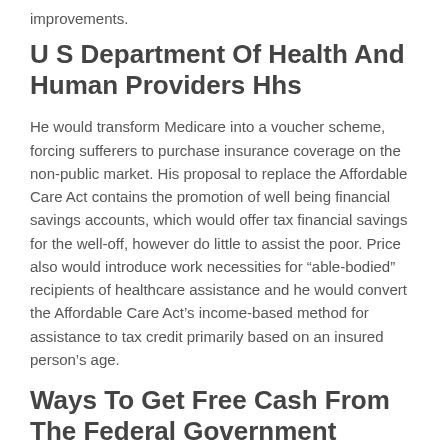improvements.
U S Department Of Health And Human Providers Hhs
He would transform Medicare into a voucher scheme, forcing sufferers to purchase insurance coverage on the non-public market. His proposal to replace the Affordable Care Act contains the promotion of well being financial savings accounts, which would offer tax financial savings for the well-off, however do little to assist the poor. Price also would introduce work necessities for “able-bodied” recipients of healthcare assistance and he would convert the Affordable Care Act’s income-based method for assistance to tax credit primarily based on an insured person’s age.
Ways To Get Free Cash From The Federal Government
However, you must also report the perpetrators of the DHHS